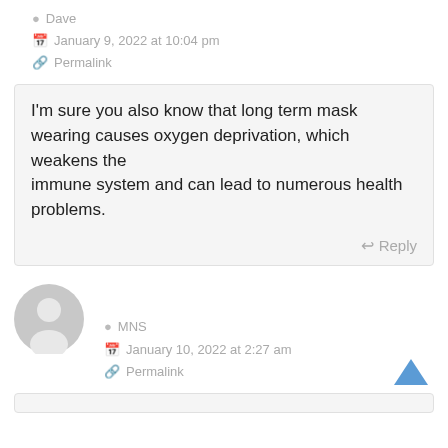Dave
January 9, 2022 at 10:04 pm
Permalink
I'm sure you also know that long term mask wearing causes oxygen deprivation, which weakens the immune system and can lead to numerous health problems.
Reply
[Figure (illustration): Generic user avatar icon, grey circular silhouette]
MNS
January 10, 2022 at 2:27 am
Permalink